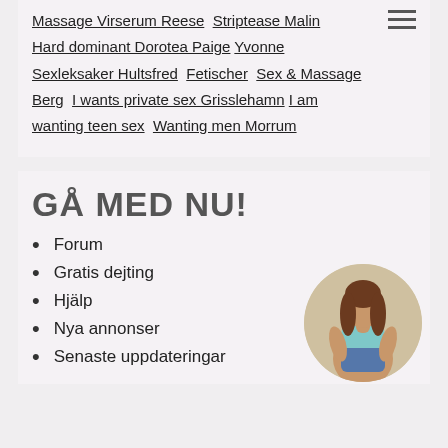Massage Virserum Reese Striptease Malin Hard dominant Dorotea Paige Yvonne Sexleksaker Hultsfred Fetischer Sex & Massage Berg I wants private sex Grisslehamn I am wanting teen sex Wanting men Morrum
GÅ MED NU!
Forum
Gratis dejting
Hjälp
Nya annonser
Senaste uppdateringar
[Figure (photo): Circular cropped photo of a woman with long brown hair wearing a light blue top and denim shorts, posed bending forward.]